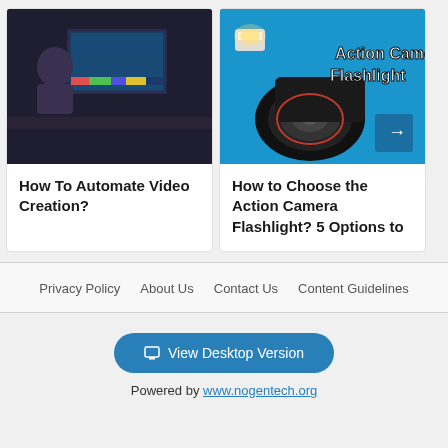[Figure (photo): Woman sitting at desk working on video editing with multiple monitors in a dark room]
How To Automate Video Creation?
[Figure (photo): Action camera flashlight product image on blue background with bold white text 'Action Camera Flashlight' and arrow button]
How to Choose the Action Camera Flashlight? 5 Options to
Privacy Policy   About Us   Contact Us   Content Guidelines
View Desktop Version
Powered by www.nogentech.org